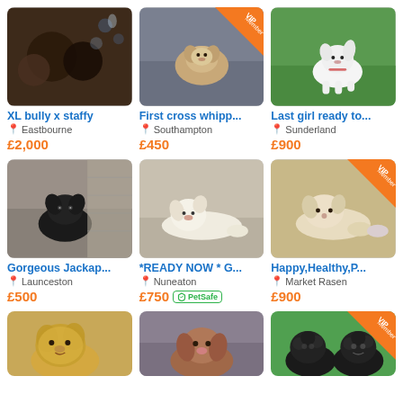[Figure (photo): Dark-colored puppies on a patterned blanket - XL bully x staffy listing]
XL bully x staffy
📍 Eastbourne
£2,000
[Figure (photo): Small light-colored puppy on grey sofa - First cross whipp... listing, VIP Member badge]
First cross whipp...
📍 Southampton
£450
[Figure (photo): White puppy standing on green grass - Last girl ready to... listing]
Last girl ready to...
📍 Sunderland
£900
[Figure (photo): Black puppy near stone wall - Gorgeous Jackap... listing]
Gorgeous Jackap...
📍 Launceston
£500
[Figure (photo): White/cream puppy lying on carpet - *READY NOW * G... listing]
*READY NOW * G...
📍 Nuneaton
£750 PetSafe
[Figure (photo): Cream/white puppy lying - Happy,Healthy,P... listing, VIP Member badge]
Happy,Healthy,P...
📍 Market Rasen
£900
[Figure (photo): Golden/cream fluffy dog - partial row 3 left]
[Figure (photo): Brown/tan puppy - partial row 3 middle]
[Figure (photo): Two black fluffy puppies on green - partial row 3 right, VIP Member badge]